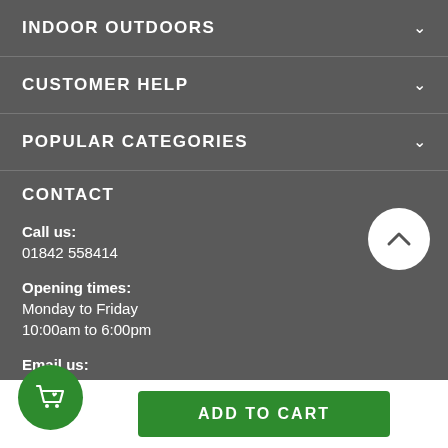INDOOR OUTDOORS
CUSTOMER HELP
POPULAR CATEGORIES
CONTACT
Call us:
01842 558414
Opening times:
Monday to Friday
10:00am to 6:00pm
Email us:
sales@indooroutdoors.co.uk
ADD TO CART